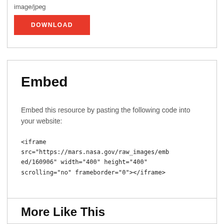image/jpeg
DOWNLOAD
Embed
Embed this resource by pasting the following code into your website:
<iframe src="https://mars.nasa.gov/raw_images/embed/160906" width="400" height="400" scrolling="no" frameborder="0"></iframe>
More Like This